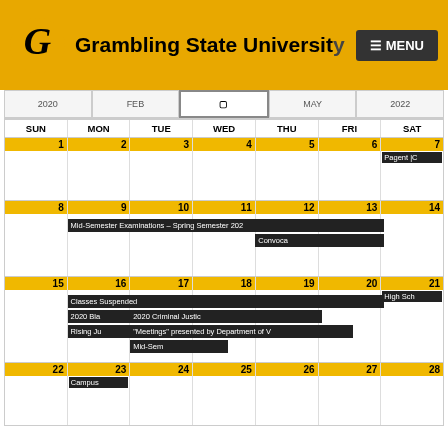Grambling State University
| SUN | MON | TUE | WED | THU | FRI | SAT |
| --- | --- | --- | --- | --- | --- | --- |
| 1 | 2 | 3 | 4 | 5 | 6 | 7 – Pagent |
| 8 | 9 | 10 | 11 | 12 | 13 | 14 |
| 15 | 16 – Classes Suspended / 2020 Bla... / Rising Ju... | 17 – 2020 Criminal Justic... / "Meetings" presented by Department of... / Mid-Sem... | 18 | 19 | 20 | 21 – High Sch... |
| 22 | 23 – Campus | 24 | 25 | 26 | 27 | 28 |